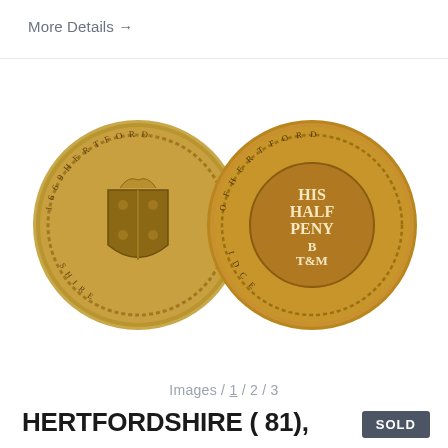More Details →
[Figure (photo): Two sides of a historical Hertfordshire halfpenny token coin from 1669. Left coin shows heraldic shield with floral/cross design and inscribed date 1669. Right coin shows 'HIS HALF PENY B T M' text in center with circular inscription around edge.]
Images / 1 / 2 / 3
HERTFORDSHIRE ( 81),
SOLD